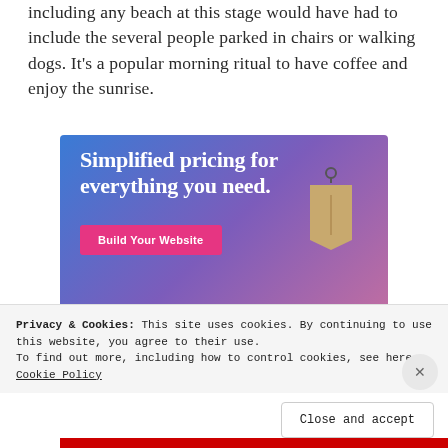including any beach at this stage would have had to include the several people parked in chairs or walking dogs. It's a popular morning ritual to have coffee and enjoy the sunrise.
[Figure (screenshot): WordPress.com advertisement banner with blue-purple gradient background. Text reads 'Simplified pricing for everything you need.' with a pink 'Build Your Website' button and a price tag graphic. WordPress logo visible at bottom.]
Privacy & Cookies: This site uses cookies. By continuing to use this website, you agree to their use. To find out more, including how to control cookies, see here: Cookie Policy
Close and accept